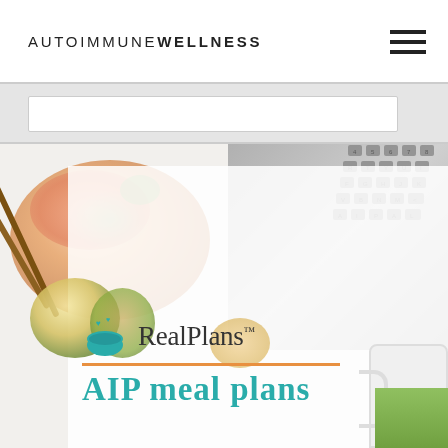AUTOIMMUNE WELLNESS
[Figure (screenshot): Website screenshot showing Autoimmune Wellness header with hamburger menu, a gray navigation bar, and a hero image featuring a food bowl with chopsticks, a laptop keyboard, avocado, and a white overlay with RealPlans logo (teal bowl icon with hearts) and text 'RealPlans.' with an orange divider line and partial text 'AIP meal plans' in teal]
RealPlans.
AIP meal plans